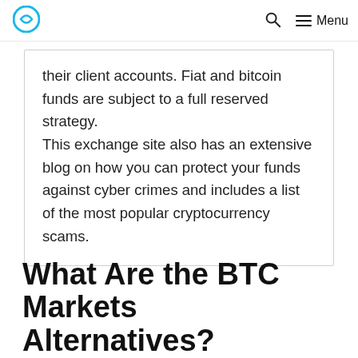Menu
their client accounts. Fiat and bitcoin funds are subject to a full reserved strategy.
This exchange site also has an extensive blog on how you can protect your funds against cyber crimes and includes a list of the most popular cryptocurrency scams.
What Are the BTC Markets Alternatives?